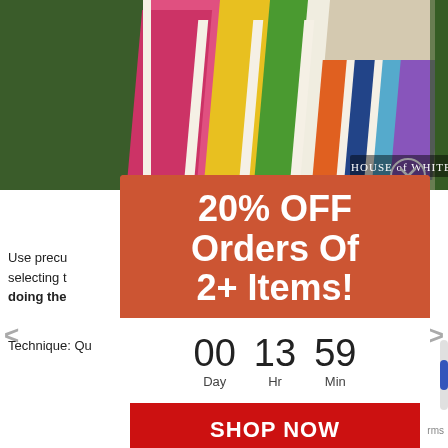[Figure (photo): Colorful quilt with vibrant fabric strips in pink, yellow, green, blue, purple, and orange, displayed against a background with trees. Text overlay reads 'HOUSE of WHITE BIRCHES'.]
Use precu selecting t doing the
Technique: Qu
20% OFF Orders Of 2+ Items!
00 Day  13 Hr  59 Min
SHOP NOW